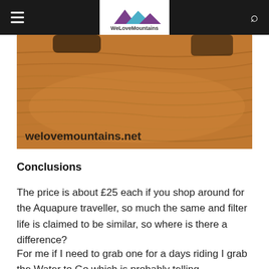WeLoveMountains
[Figure (photo): Close-up photo of a wooden surface with warm brown wood grain texture, with partial view of objects above. Watermark text 'welovemountains.net' overlaid at bottom left.]
Conclusions
The price is about £25 each if you shop around for the Aquapure traveller, so much the same and filter life is claimed to be similar, so where is there a difference?
For me if I need to grab one for a days riding I grab the Water to Go which is probably telling.